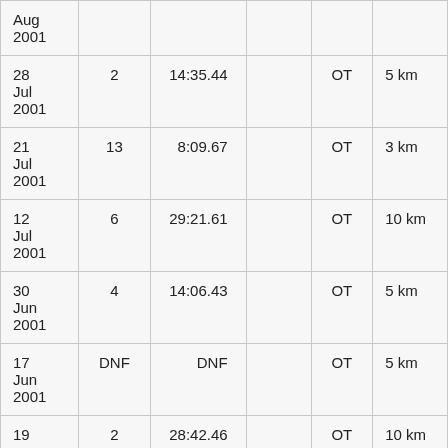| Aug
2001 |  |  |  |  |  |
| 28
Jul
2001 | 2 | 14:35.44 |  | OT | 5 km |
| 21
Jul
2001 | 13 | 8:09.67 |  | OT | 3 km |
| 12
Jul
2001 | 6 | 29:21.61 |  | OT | 10 km |
| 30
Jun
2001 | 4 | 14:06.43 |  | OT | 5 km |
| 17
Jun
2001 | DNF | DNF |  | OT | 5 km |
| 19 | 2 | 28:42.46 |  | OT | 10 km |